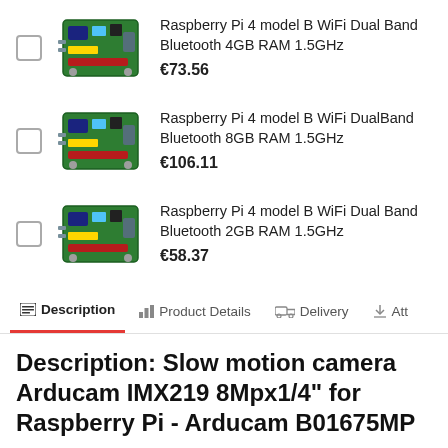Raspberry Pi 4 model B WiFi Dual Band Bluetooth 4GB RAM 1.5GHz €73.56
Raspberry Pi 4 model B WiFi DualBand Bluetooth 8GB RAM 1.5GHz €106.11
Raspberry Pi 4 model B WiFi Dual Band Bluetooth 2GB RAM 1.5GHz €58.37
Description | Product Details | Delivery | Att
Description: Slow motion camera Arducam IMX219 8Mpx1/4" for Raspberry Pi - Arducam B01675MP